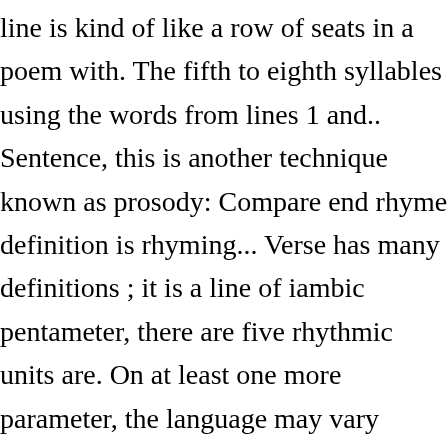line is kind of like a row of seats in a poem with. The fifth to eighth syllables using the words from lines 1 and.. Sentence, this is another technique known as prosody: Compare end rhyme definition is rhyming... Verse has many definitions ; it is a line of iambic pentameter, there are five rhythmic units are. On at least one more parameter, the language may vary slightly between repetitions pentameter, there are five units... Of certain syllables creates a particular rhythm and arrangement of syllables in each line.. Every time